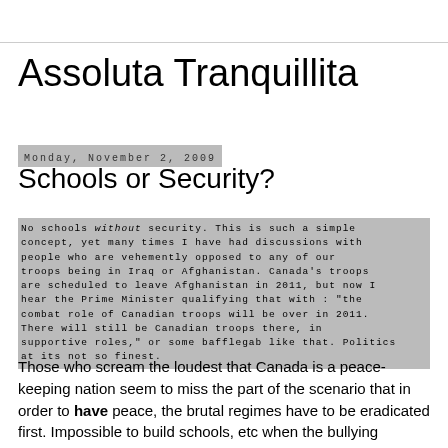Assoluta Tranquillita
Monday, November 2, 2009
Schools or Security?
No schools without security. This is such a simple concept, yet many times I have had discussions with people who are vehemently opposed to any of our troops being in Iraq or Afghanistan. Canada's troops are scheduled to leave Afghanistan in 2011, but now I hear the Prime Minister qualifying that with : "the combat role of Canadian troops will be over in 2011. There will still be Canadian troops there, in supportive roles," or some bafflegab like that. Politics at its not so finest.
Those who scream the loudest that Canada is a peace-keeping nation seem to miss the part of the scenario that in order to have peace, the brutal regimes have to be eradicated first. Impossible to build schools, etc when the bullying neanderthals are adamantly opposed to education for girls, micro businesses for the locals, hospitals, roads, running water etc etc - twenty-first century basics that you and I take for granted.